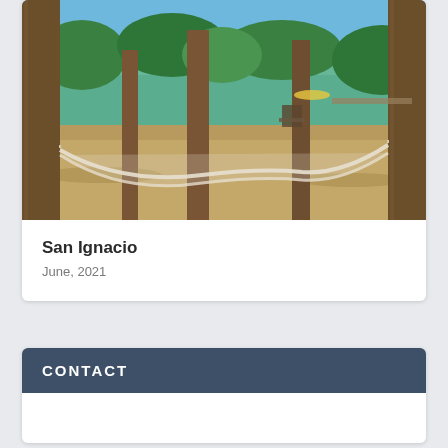[Figure (photo): Outdoor photo of a palm-tree-lined sandy area with hammocks strung between trees, a green lake or lagoon visible in the background, and clear blue sky above.]
San Ignacio
June, 2021
CONTACT